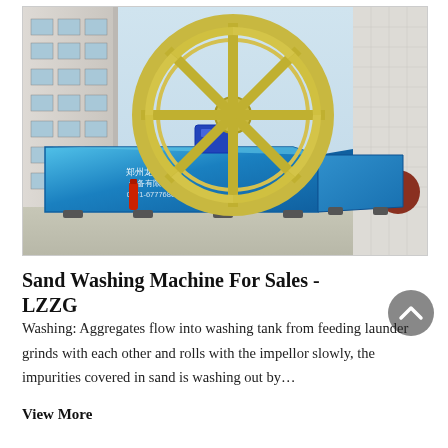[Figure (photo): Large industrial sand washing machine with a big wheel/impellor on top of blue metal tanks, photographed outdoors in front of a white building. Chinese text on the tank reads company name and contact number. A fire extinguisher is visible to the left side.]
Sand Washing Machine For Sales - LZZG
Washing: Aggregates flow into washing tank from feeding launder grinds with each other and rolls with the impellor slowly, the impurities covered in sand is washing out by…
View More